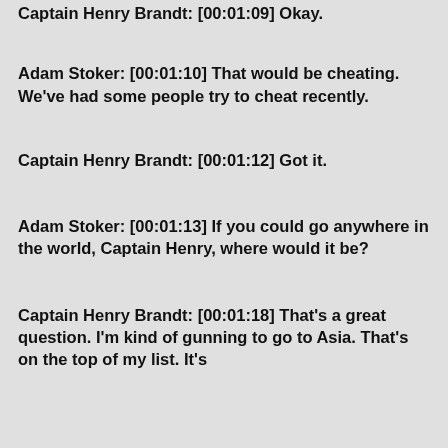Captain Henry Brandt: [00:01:09] Okay.
Adam Stoker: [00:01:10] That would be cheating. We've had some people try to cheat recently.
Captain Henry Brandt: [00:01:12] Got it.
Adam Stoker: [00:01:13] If you could go anywhere in the world, Captain Henry, where would it be?
Captain Henry Brandt: [00:01:18] That's a great question. I'm kind of gunning to go to Asia. That's on the top of my list. It's